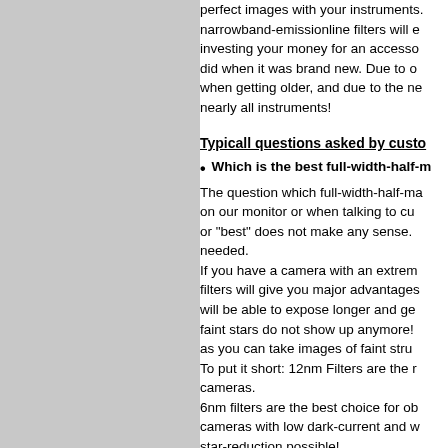perfect images with your instruments. narrowband-emissionline filters will e investing your money for an accesso did when it was brand new. Due to o when getting older, and due to the ne nearly all instruments!
Typicall questions asked by custo
Which is the best full-width-half-m
The question which full-width-half-ma on our monitor or when talking to cu or "best" does not make any sense. needed. If you have a camera with an extrem filters will give you major advantages will be able to expose longer and ge faint stars do not show up anymore! as you can take images of faint stru To put it short: 12nm Filters are the r cameras. 6nm filters are the best choice for ob cameras with low dark-current and w star-reduction possible!